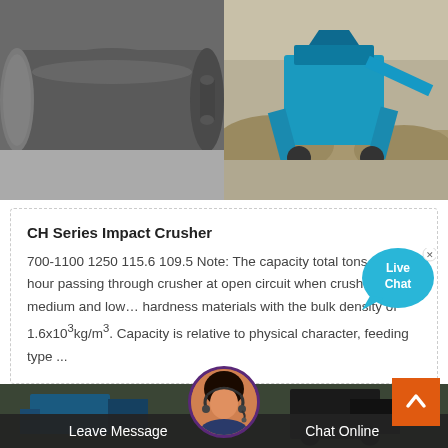[Figure (photo): Two side-by-side photos: left shows a large gray industrial roller/mill cylinder on a warehouse floor; right shows blue crushing equipment/machinery outdoors with dirt mounds in background]
CH Series Impact Crusher
700-1100 1250 115.6 109.5 Note: The capacity total tons per hour passing through crusher at open circuit when crushing medium and low… hardness materials with the bulk density of 1.6x10³kg/m³. Capacity is relative to physical character, feeding type ...
[Figure (photo): Bottom strip showing industrial machinery in dark tones with customer service avatar circle (woman with headset) overlaid in center]
Leave Message   Chat Online